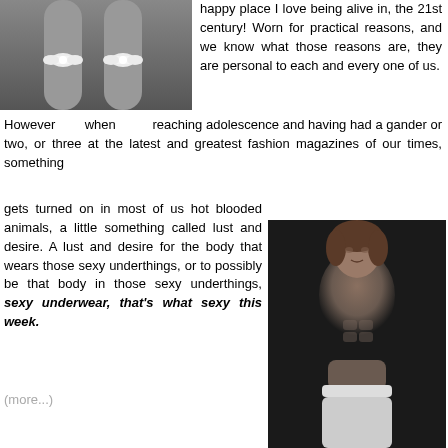[Figure (photo): Black and white photo of legs wearing white stockings with white bow detail at the top]
happy place I love being alive in, the 21st century! Worn for practical reasons, and we know what those reasons are, they are personal to each and every one of us.
However when reaching adolescence and having had a gander or two, or three at the latest and greatest fashion magazines of our times, something gets turned on in most of us hot blooded animals, a little something called lust and desire. A lust and desire for the body that wears those sexy underthings, or to possibly be that body in those sexy underthings, sexy underwear, that's what sexy this week.
[Figure (photo): Black and white photo of a fit shirtless male model wearing white underwear briefs, standing against a dark background]
(more...)